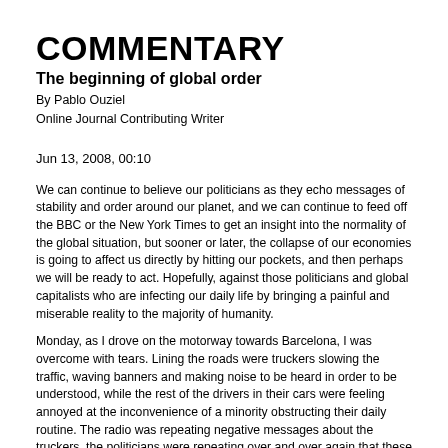COMMENTARY
The beginning of global order
By Pablo Ouziel
Online Journal Contributing Writer
Jun 13, 2008, 00:10
We can continue to believe our politicians as they echo messages of stability and order around our planet, and we can continue to feed off the BBC or the New York Times to get an insight into the normality of the global situation, but sooner or later, the collapse of our economies is going to affect us directly by hitting our pockets, and then perhaps we will be ready to act. Hopefully, against those politicians and global capitalists who are infecting our daily life by bringing a painful and miserable reality to the majority of humanity.
Monday, as I drove on the motorway towards Barcelona, I was overcome with tears. Lining the roads were truckers slowing the traffic, waving banners and making noise to be heard in order to be understood, while the rest of the drivers in their cars were feeling annoyed at the inconvenience of a minority obstructing their daily routine. The radio was repeating negative messages about the truckers, the politicians were repeating over and over again that these people were a minority, and that the rest of us should not worry, because they would not achieve the goal of disrupting the flow of petrol or the arrival of goods from one point to another.